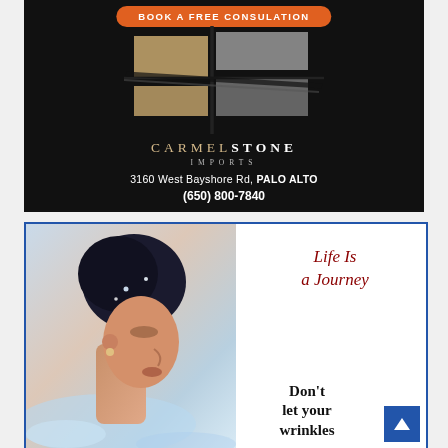[Figure (advertisement): Carmelstone Imports advertisement on black background with logo graphic, business name, address and phone number, with orange 'BOOK A FREE CONSULATION' button at top]
[Figure (advertisement): Spa/beauty advertisement with woman's profile photo, 'Life Is a Journey' italic text in red, and 'Don't let your wrinkles' text in bold black. Blue border with scroll-to-top button.]